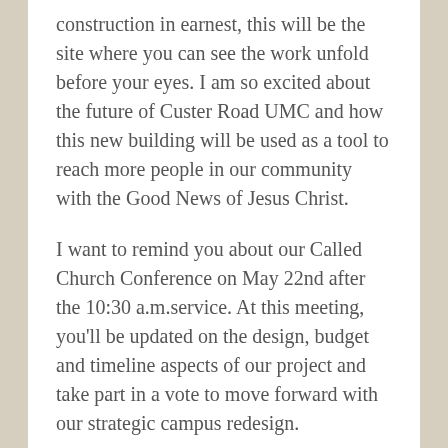construction in earnest, this will be the site where you can see the work unfold before your eyes. I am so excited about the future of Custer Road UMC and how this new building will be used as a tool to reach more people in our community with the Good News of Jesus Christ.
I want to remind you about our Called Church Conference on May 22nd after the 10:30 a.m.service. At this meeting, you'll be updated on the design, budget and timeline aspects of our project and take part in a vote to move forward with our strategic campus redesign.
Finally, I hope you will join us on Sunday as Rev. Tim Morrison concludes our Fakebook sermon series.